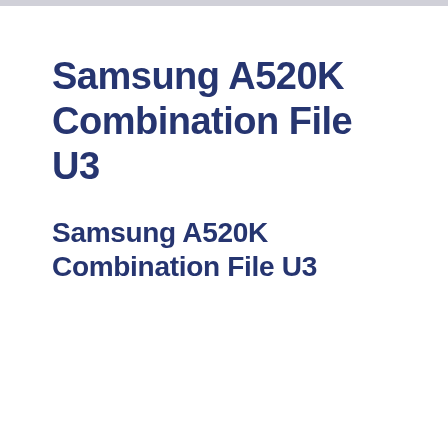Samsung A520K Combination File U3
Samsung A520K Combination File U3